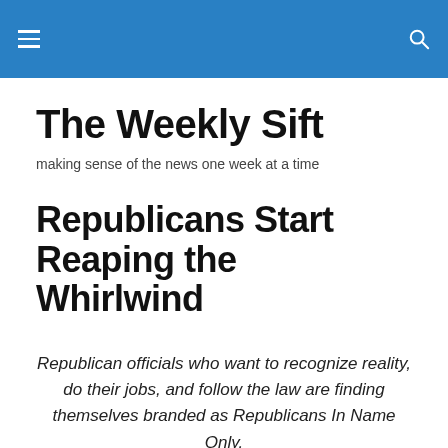The Weekly Sift — navigation header
The Weekly Sift
making sense of the news one week at a time
Republicans Start Reaping the Whirlwind
Republican officials who want to recognize reality, do their jobs, and follow the law are finding themselves branded as Republicans In Name Only.